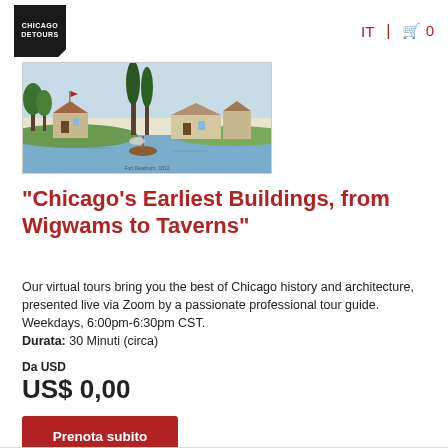[Figure (logo): Chicago Detours logo — black pentagon-shaped badge with white text]
IT  🛒 0
[Figure (illustration): Vintage illustration of early Chicago buildings near a river with trees and boats]
"Chicago's Earliest Buildings, from Wigwams to Taverns"
Our virtual tours bring you the best of Chicago history and architecture, presented live via Zoom by a passionate professional tour guide. Weekdays, 6:00pm-6:30pm CST.
Durata: 30 Minuti (circa)
Da USD
US$ 0,00
Prenota subito